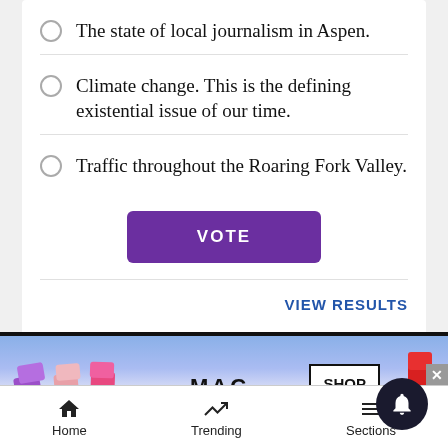The state of local journalism in Aspen.
Climate change. This is the defining existential issue of our time.
Traffic throughout the Roaring Fork Valley.
VOTE
VIEW RESULTS
[Figure (screenshot): MAC cosmetics advertisement showing lipsticks with SHOP NOW box]
Home   Trending   Sections